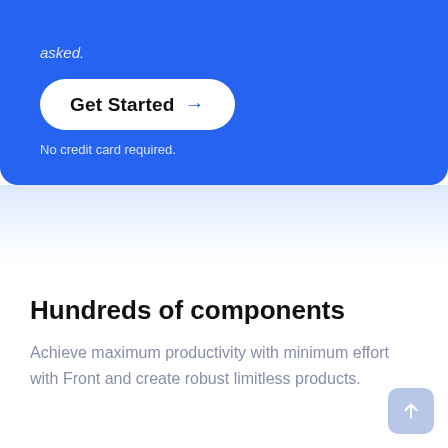asked.
Get Started →
No credit card required.
Hundreds of components
Achieve maximum productivity with minimum effort with Front and create robust limitless products.